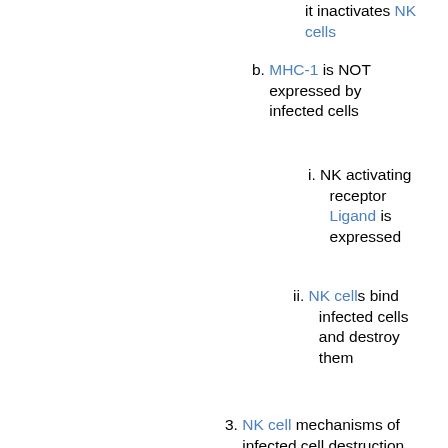it inactivates NK cells
b. MHC-1 is NOT expressed by infected cells
i. NK activating receptor Ligand is expressed
ii. NK cells bind infected cells and destroy them
3. NK cell mechanisms of infected cell destruction
a. Cytoplasmic granules
i. Perforin
i. Generate pores on cells targeted for destruction
ii. Granzyme
i. Induces programmed...